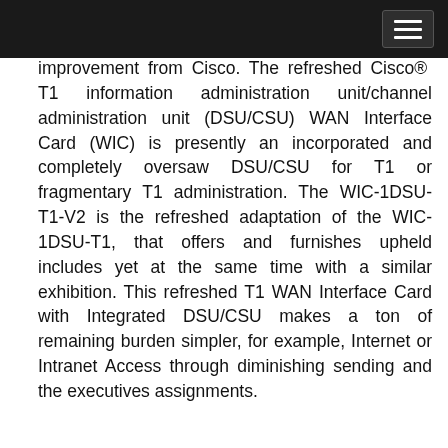[navigation bar with menu button]
improvement from Cisco. The refreshed Cisco® T1 information administration unit/channel administration unit (DSU/CSU) WAN Interface Card (WIC) is presently an incorporated and completely oversaw DSU/CSU for T1 or fragmentary T1 administration. The WIC-1DSU-T1-V2 is the refreshed adaptation of the WIC-1DSU-T1, that offers and furnishes upheld includes yet at the same time with a similar exhibition. This refreshed T1 WAN Interface Card with Integrated DSU/CSU makes a ton of remaining burden simpler, for example, Internet or Intranet Access through diminishing sending and the executives assignments.